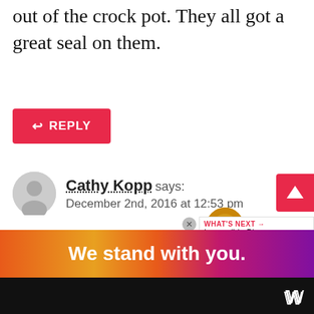out of the crock pot. They all got a great seal on them.
REPLY
Cathy Kopp says:
December 2nd, 2016 at 12:53 pm
Please just be aware that if you don't boil the filled jars for the proper amount of time as recommended by the USDA, they need to be stored in the refriger product is not shelf stable and could de
[Figure (screenshot): Advertisement banner: 'We stand with you.' in white text on gradient background (orange to purple). CNN logo visible at right.]